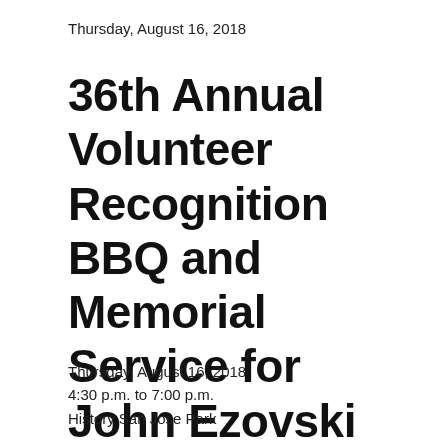Thursday, August 16, 2018
36th Annual Volunteer Recognition BBQ and Memorial Service for John Ezovski
Thursday, August 16, 2018
4:30 p.m. to 7:00 p.m.
History San Jose Park